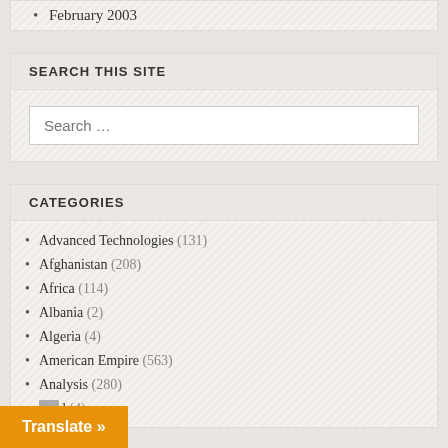February 2003
SEARCH THIS SITE
Search …
CATEGORIES
Advanced Technologies (131)
Afghanistan (208)
Africa (114)
Albania (2)
Algeria (4)
American Empire (563)
Analysis (280)
…d (4)
Translate »